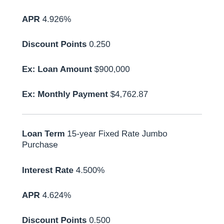APR 4.926%
Discount Points 0.250
Ex: Loan Amount $900,000
Ex: Monthly Payment $4,762.87
Loan Term 15-year Fixed Rate Jumbo Purchase
Interest Rate 4.500%
APR 4.624%
Discount Points 0.500